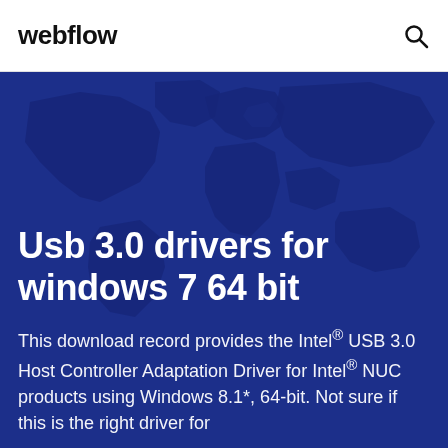webflow
Usb 3.0 drivers for windows 7 64 bit
This download record provides the Intel® USB 3.0 Host Controller Adaptation Driver for Intel® NUC products using Windows 8.1*, 64-bit. Not sure if this is the right driver for